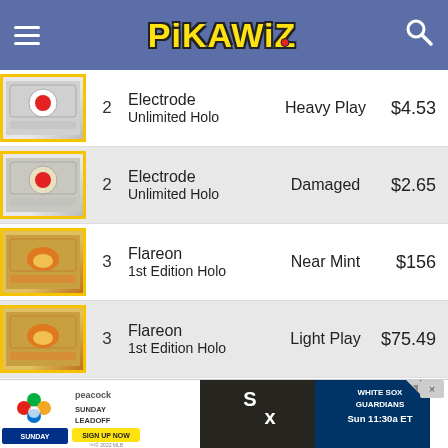[Figure (screenshot): PikaWiz app header with hamburger menu, logo, and search icon]
| Card Image | # | Name/Edition | Condition | Price |
| --- | --- | --- | --- | --- |
| [img] | 2 | Electrode Unlimited Holo | Heavy Play | $4.53 |
| [img] | 2 | Electrode Unlimited Holo | Damaged | $2.65 |
| [img] | 3 | Flareon 1st Edition Holo | Near Mint | $156 |
| [img] | 3 | Flareon 1st Edition Holo | Light Play | $75.49 |
| [img] | 3 | Flareon 1st Edition Holo | Moderate Play | $47.42 |
| [img] | 3 | Flareon 1st Edition Holo | Heavy Play | $42.74 |
[Figure (screenshot): Peacock Sunday Leadoff advertisement banner with White Sox vs Guardians, Sun 11:30a ET]